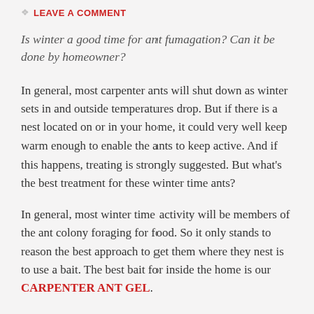LEAVE A COMMENT
Is winter a good time for ant fumagation? Can it be done by homeowner?
In general, most carpenter ants will shut down as winter sets in and outside temperatures drop. But if there is a nest located on or in your home, it could very well keep warm enough to enable the ants to keep active. And if this happens, treating is strongly suggested. But what’s the best treatment for these winter time ants?
In general, most winter time activity will be members of the ant colony foraging for food. So it only stands to reason the best approach to get them where they nest is to use a bait. The best bait for inside the home is our CARPENTER ANT GEL.